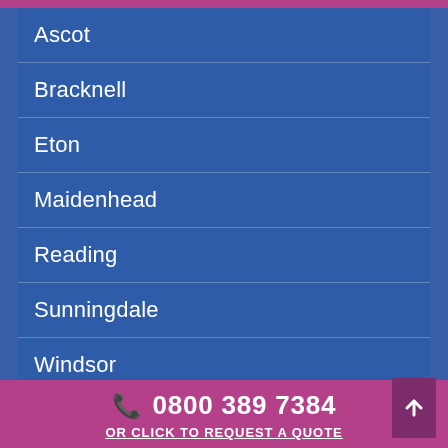Ascot
Bracknell
Eton
Maidenhead
Reading
Sunningdale
Windsor
Wokingham
📞 0800 389 7384
OR CLICK TO REQUEST A QUOTE